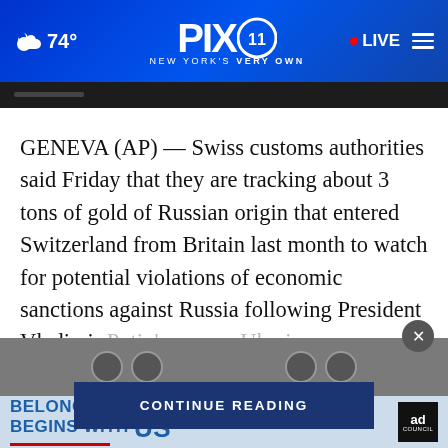74° PIX11 NEW YORK'S VERY OWN LIVE
GENEVA (AP) — Swiss customs authorities said Friday that they are tracking about 3 tons of gold of Russian origin that entered Switzerland from Britain last month to watch for potential violations of economic sanctions against Russia following President Vladimir Putin's war on Ukraine.
[Figure (screenshot): CONTINUE READING button overlay in dark blue]
[Figure (screenshot): Ad banner: BELONGING BEGINS WITH US, Ad Council logo, close button]